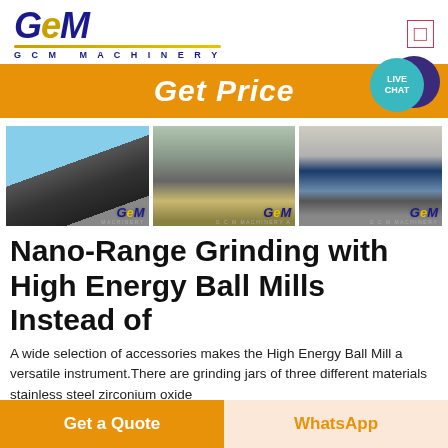[Figure (logo): GCM Machinery logo with stylized italic text and gold underline]
[Figure (infographic): Orange Get Price banner with Live Chat bubble]
[Figure (photo): Three photos of mining/crushing machinery equipment with GCM Machinery watermarks]
Nano-Range Grinding with High Energy Ball Mills Instead of
A wide selection of accessories makes the High Energy Ball Mill a versatile instrument.There are grinding jars of three different materials stainless steel zirconium oxide
[Figure (infographic): Bottom action buttons: Get a Quote (orange) and WhatsApp (light orange text on cream)]